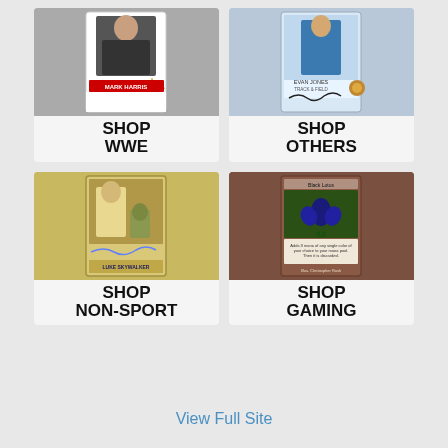[Figure (illustration): Shop WWE - trading card with wrestler and gold star, text SHOP WWE]
[Figure (illustration): Shop Others - trading card with athlete, text SHOP OTHERS]
[Figure (illustration): Shop Non-Sport - Star Wars card with Luke Skywalker autograph, text SHOP NON-SPORT]
[Figure (illustration): Shop Gaming - Magic the Gathering Black Lotus card, text SHOP GAMING]
View Full Site